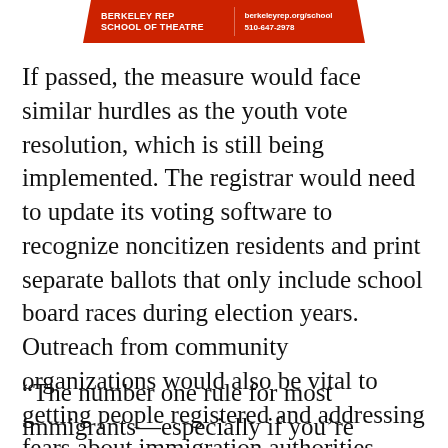BERKELEY REP SCHOOL OF THEATRE | berkeleyrep.org/school 510-647-2978
If passed, the measure would face similar hurdles as the youth vote resolution, which is still being implemented. The registrar would need to update its voting software to recognize noncitizen residents and print separate ballots that only include school board races during election years. Outreach from community organizations would also be vital to getting people registered and addressing fears about immigration authorities being alerted.
“The number one rule for most immigrants—especially if you’re undocumented—is stay invisible,” said Marisol…